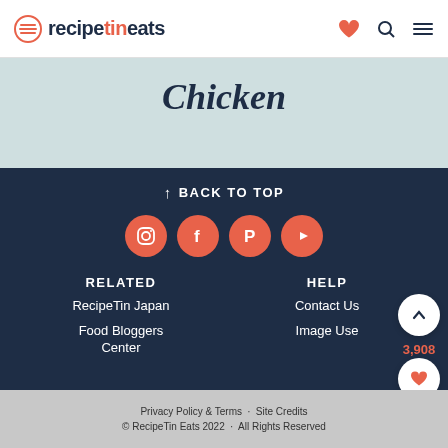recipetineats
Chicken
↑ BACK TO TOP
[Figure (infographic): Social media icons: Instagram, Facebook, Pinterest, YouTube in salmon/coral circles]
RELATED | HELP
RecipeTin Japan
Food Bloggers Center
Contact Us
Image Use
Privacy Policy & Terms · Site Credits © RecipeTin Eats 2022 · All Rights Reserved